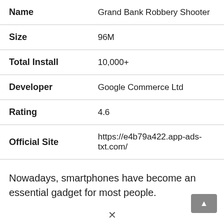| Field | Value |
| --- | --- |
| Name | Grand Bank Robbery Shooter |
| Size | 96M |
| Total Install | 10,000+ |
| Developer | Google Commerce Ltd |
| Rating | 4.6 |
| Official Site | https://e4b79a422.app-ads-txt.com/ |
Nowadays, smartphones have become an essential gadget for most people.